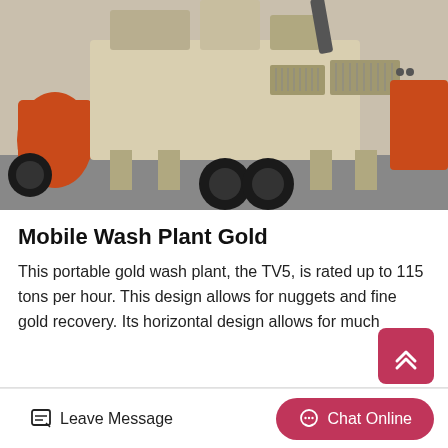[Figure (photo): A large mobile crushing/wash plant on wheels and support legs, cream/beige colored body with orange machinery components visible on left and right sides, heavy black tires, industrial setting]
Mobile Wash Plant Gold
This portable gold wash plant, the TV5, is rated up to 115 tons per hour. This design allows for nuggets and fine gold recovery. Its horizontal design allows for much
Leave Message   Chat Online